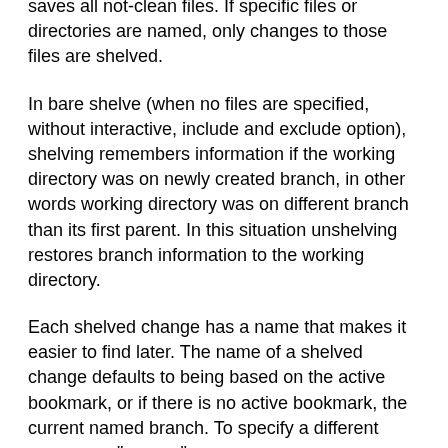saves all not-clean files. If specific files or directories are named, only changes to those files are shelved.
In bare shelve (when no files are specified, without interactive, include and exclude option), shelving remembers information if the working directory was on newly created branch, in other words working directory was on different branch than its first parent. In this situation unshelving restores branch information to the working directory.
Each shelved change has a name that makes it easier to find later. The name of a shelved change defaults to being based on the active bookmark, or if there is no active bookmark, the current named branch. To specify a different name, use "--name".
To see a list of existing shelved changes, use the "--list" option. For each shelved change, this will print its name, age, and description; use "--patch" or "--stat" for